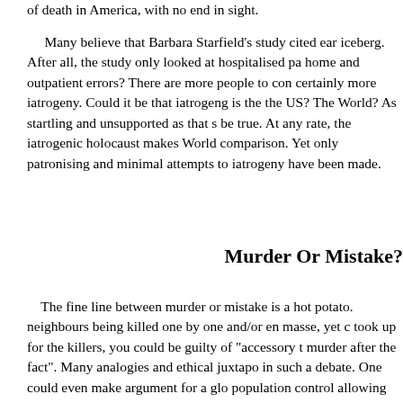of death in America, with no end in sight.
Many believe that Barbara Starfield's study cited ear iceberg. After all, the study only looked at hospitalised pa home and outpatient errors? There are more people to con certainly more iatrogeny. Could it be that iatrogeng is the the US? The World? As startling and unsupported as that s be true. At any rate, the iatrogenic holocaust makes World comparison. Yet only patronising and minimal attempts to iatrogeny have been made.
Murder Or Mistake?
The fine line between murder or mistake is a hot potato. neighbours being killed one by one and/or en masse, yet c took up for the killers, you could be guilty of "accessory t murder after the fact". Many analogies and ethical juxtapo in such a debate. One could even make argument for a glo population control allowing iatrogeny to gain such mome etiology, iatrogeny is real. It is rampant and far from bein making iatrogeny, through semantics, sound as it is an inf